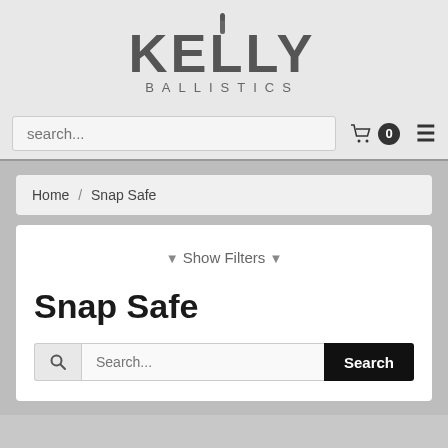[Figure (logo): Kelly Ballistics logo with bullet graphic above the K in KELLY, and BALLISTICS in spaced letters below]
search...  🛒 0  ≡
Home / Snap Safe
▼ Show Filters ▼
Snap Safe
Search...  Search